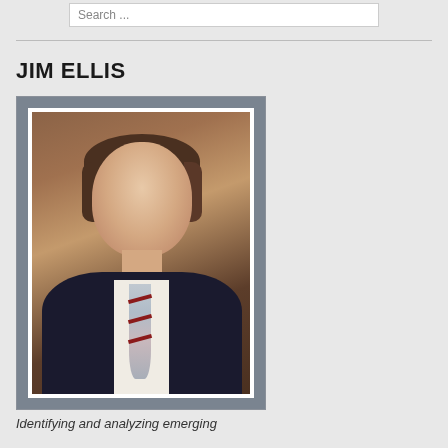Search ...
JIM ELLIS
[Figure (photo): Professional headshot of Jim Ellis, a middle-aged man with dark hair wearing a dark suit jacket, white dress shirt, and a striped tie (light blue/silver with red stripes). He is smiling at the camera. The photo has a white border and is set inside a gray frame.]
Identifying and analyzing emerging